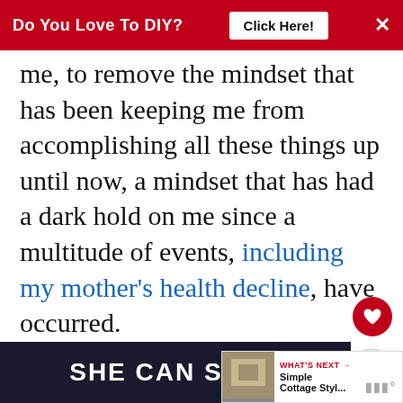Do You Love To DIY? Click Here! ×
me, to remove the mindset that has been keeping me from accomplishing all these things up until now, a mindset that has had a dark hold on me since a multitude of events, including my mother's health decline, have occurred.
I have been expecting and accepting the worst over the last two years and what I have been cultivating.
[Figure (other): SHE CAN STEM advertisement banner at the bottom of the page]
[Figure (other): What's Next panel showing Simple Cottage Styl... with thumbnail image]